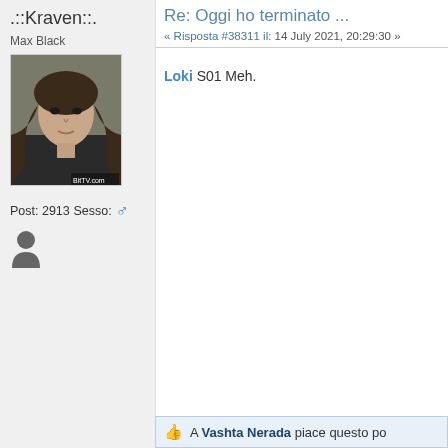.::Kraven::.
Max Black
[Figure (photo): Avatar photo of a young woman with long dark hair, wearing dark clothing, looking at camera]
Post: 2913
Sesso: ♂
Re: Oggi ho terminato ...
« Risposta #38311 il: 14 July 2021, 20:29:30 »
Loki S01
Meh.
A Vashta Nerada piace questo po